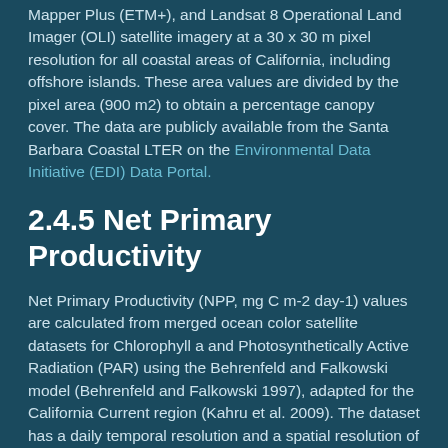Mapper Plus (ETM+), and Landsat 8 Operational Land Imager (OLI) satellite imagery at a 30 x 30 m pixel resolution for all coastal areas of California, including offshore islands. These area values are divided by the pixel area (900 m2) to obtain a percentage canopy cover. The data are publicly available from the Santa Barbara Coastal LTER on the Environmental Data Initiative (EDI) Data Portal.
2.4.5 Net Primary Productivity
Net Primary Productivity (NPP, mg C m-2 day-1) values are calculated from merged ocean color satellite datasets for Chlorophyll a and Photosynthetically Active Radiation (PAR) using the Behrenfeld and Falkowski model (Behrenfeld and Falkowski 1997), adapted for the California Current region (Kahru et al. 2009). The dataset has a daily temporal resolution and a spatial resolution of 4km. We downsample the daily dataset to generate monthly and annual temporal mean, maximum, and 95th percentile for each